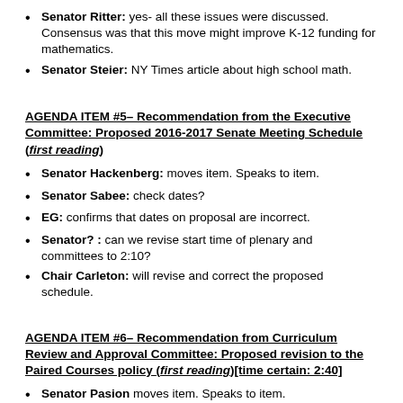Senator Ritter:  yes- all these issues were discussed.  Consensus was that this move might improve K-12 funding for mathematics.
Senator Steier:  NY Times article about high school math.
AGENDA ITEM #5– Recommendation from the Executive Committee: Proposed 2016-2017 Senate Meeting Schedule (first reading)
Senator Hackenberg:  moves item.  Speaks to item.
Senator Sabee:  check dates?
EG:  confirms that dates on proposal are incorrect.
Senator? :  can we revise start time of plenary and committees to 2:10?
Chair Carleton:  will revise and correct the proposed schedule.
AGENDA ITEM #6– Recommendation from Curriculum Review and Approval Committee: Proposed revision to the Paired Courses policy (first reading)[time certain: 2:40]
Senator Pasion moves item.  Speaks to item.
Senator Pasion:  yields floor to Associate Dean Robert